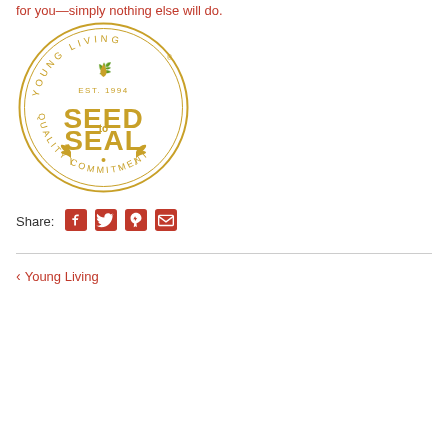for you—simply nothing else will do.
[Figure (logo): Young Living Seed to Seal Quality Commitment circular badge logo in gold, EST. 1994]
Share:
[Figure (other): Social share icons: Facebook, Twitter, Pinterest, Email]
‹ Young Living